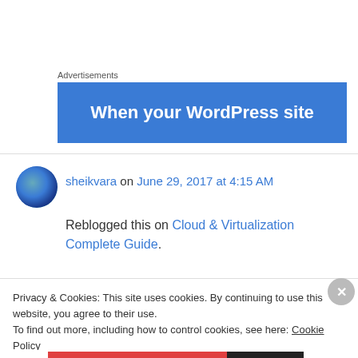Advertisements
[Figure (other): Blue advertisement banner with white bold text reading 'When your WordPress site']
sheikvara on June 29, 2017 at 4:15 AM
Reblogged this on Cloud & Virtualization Complete Guide.
Privacy & Cookies: This site uses cookies. By continuing to use this website, you agree to their use.
To find out more, including how to control cookies, see here: Cookie Policy
Close and accept